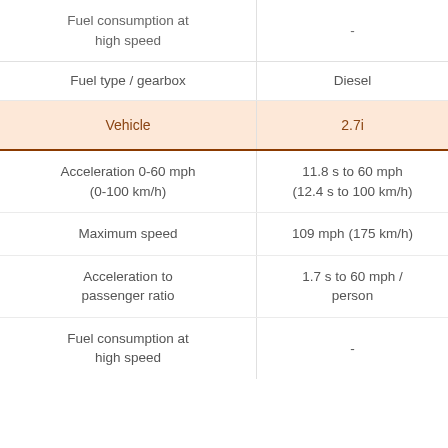| Vehicle | 2.7i |
| --- | --- |
| Fuel consumption at high speed | - |
| Fuel type / gearbox | Diesel |
| Vehicle | 2.7i |
| Acceleration 0-60 mph (0-100 km/h) | 11.8 s to 60 mph (12.4 s to 100 km/h) |
| Maximum speed | 109 mph (175 km/h) |
| Acceleration to passenger ratio | 1.7 s to 60 mph / person |
| Fuel consumption at high speed | - |